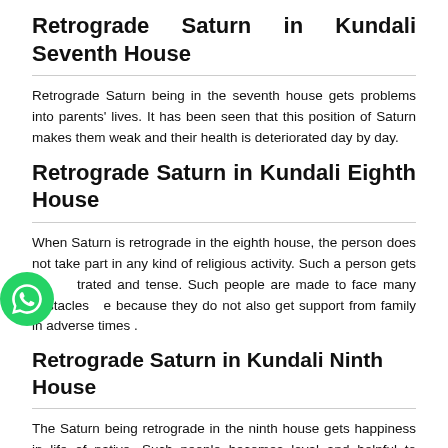Retrograde Saturn in Kundali Seventh House
Retrograde Saturn being in the seventh house gets problems into parents' lives. It has been seen that this position of Saturn makes them weak and their health is deteriorated day by day.
Retrograde Saturn in Kundali Eighth House
When Saturn is retrograde in the eighth house, the person does not take part in any kind of religious activity. Such a person gets [frus]trated and tense. Such people are made to face many obstacles [in lif]e because they do not also get support from family in adverse times .
Retrograde Saturn in Kundali Ninth House
The Saturn being retrograde in the ninth house gets happiness in life of native. Such people becomes loyal and helpful to others. The native is seen to be ready to help others in needy time. A lot charity...